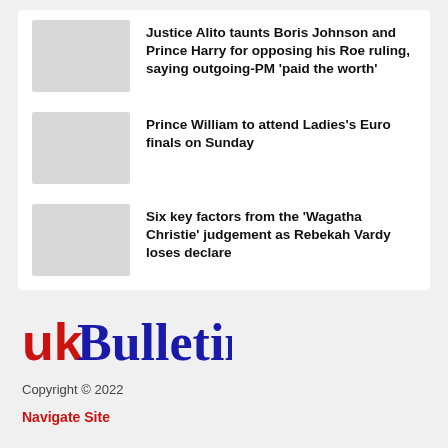Justice Alito taunts Boris Johnson and Prince Harry for opposing his Roe ruling, saying outgoing-PM 'paid the worth'
Prince William to attend Ladies's Euro finals on Sunday
Six key factors from the 'Wagatha Christie' judgement as Rebekah Vardy loses declare
[Figure (logo): UK Bulletin logo — 'UK' in red block letters, 'Bulletin' in large blue bold serif text]
Copyright © 2022
Navigate Site